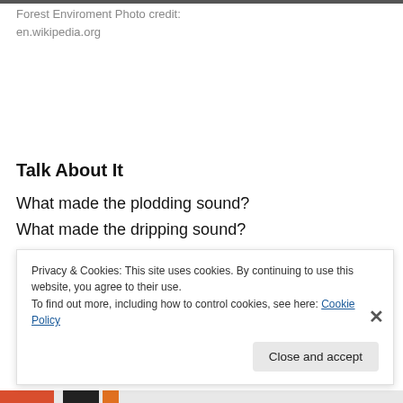Forest Enviroment Photo credit:
en.wikipedia.org
Talk About It
What made the plodding sound?
What made the dripping sound?
What made the plopping sound?
What made the woo woo woo sound?
Privacy & Cookies: This site uses cookies. By continuing to use this website, you agree to their use.
To find out more, including how to control cookies, see here: Cookie Policy